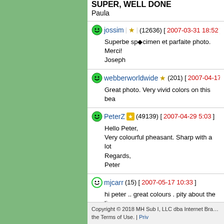SUPER, WELL DONE
Paula
jossim | ★ | (12636) [2007-03-31 18:52]
Superbe spécimen et parfaite photo.
Merci!
Joseph
webberworldwide ★ (201) [2007-04-17 2...]
Great photo. Very vivid colors on this bea...
PeterZ ★ (49139) [2007-04-29 5:03]
Hello Peter,
Very colourful pheasant. Sharp with a lot...
Regards,
Peter
mjcarr (15) [2007-05-17 10:33]
hi peter .. great colours . pity about the lig...
[Figure (other): Grayscale gradient bar with scale 0-5]
Copyright © 2018 MH Sub I, LLC dba Internet Bra... the Terms of Use. | Priv...